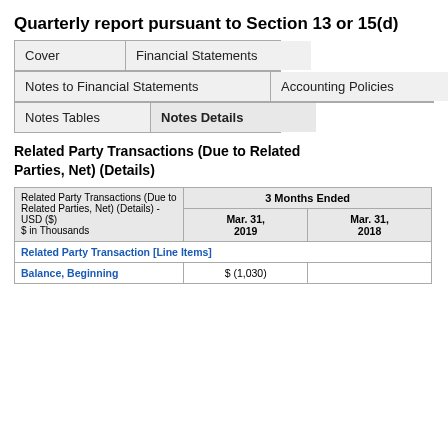Quarterly report pursuant to Section 13 or 15(d)
| Cover | Financial Statements |
| --- | --- |
| Notes to Financial Statements | Accounting Policies |
| --- | --- |
| Notes Tables | Notes Details |
| --- | --- |
Related Party Transactions (Due to Related Parties, Net) (Details)
| Related Party Transactions (Due to Related Parties, Net) (Details) - USD ($) $ in Thousands | 3 Months Ended |  |
| --- | --- | --- |
|  | Mar. 31, 2019 | Mar. 31, 2018 |
| Related Party Transaction [Line Items] |  |  |
| Balance, Beginning | $ (1,030) |  |